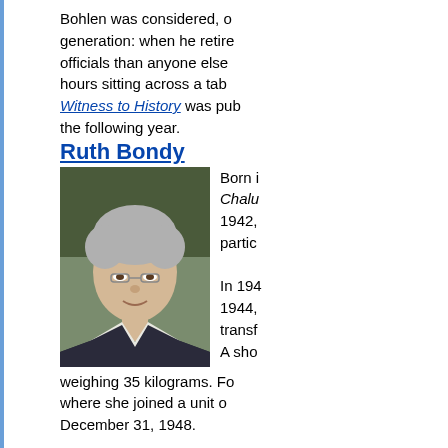Bohlen was considered, of his generation: when he retired, officials than anyone else hours sitting across a table. Witness to History was published the following year.
Ruth Bondy
[Figure (photo): Elderly woman with gray hair and glasses, wearing a dark jacket with white collar, smiling slightly, photographed indoors.]
Born i... Chalutz... 1942, partici... In 194... 1944, transf... A sho... weighing 35 kilograms. Fo... where she joined a unit o... December 31, 1948.